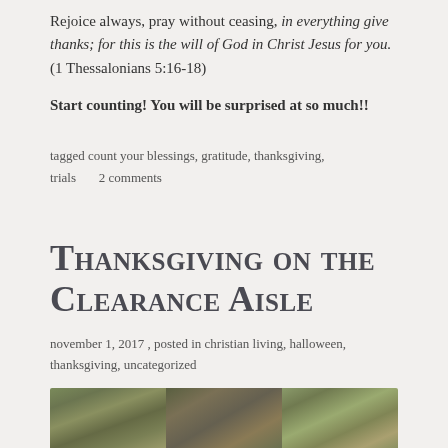Rejoice always, pray without ceasing, in everything give thanks; for this is the will of God in Christ Jesus for you. (1 Thessalonians 5:16-18)
Start counting! You will be surprised at so much!!
tagged count your blessings, gratitude, thanksgiving, trials     2 comments
Thanksgiving on the Clearance Aisle
november 1, 2017 , posted in christian living, halloween, thanksgiving, uncategorized
[Figure (photo): Three outdoor nature photos showing trees and foliage, partially visible at the bottom of the page]